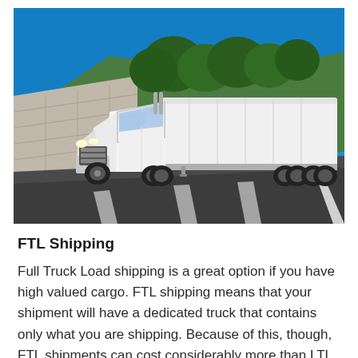[Figure (photo): A large white semi-truck with trailer driving on a highway. There is a concrete retaining wall on the left with green trees and a blue sky in the background.]
FTL Shipping
Full Truck Load shipping is a great option if you have high valued cargo. FTL shipping means that your shipment will have a dedicated truck that contains only what you are shipping. Because of this, though, FTL shipments can cost considerably more than LTL